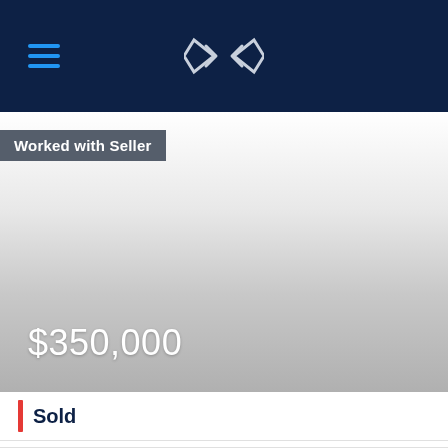[Figure (logo): Dark navy blue header bar with hamburger menu icon on left and diamond/chevron logo in center]
Worked with Seller
[Figure (photo): Property listing image area with gradient from white to gray, showing price overlay of $350,000]
$350,000
Sold